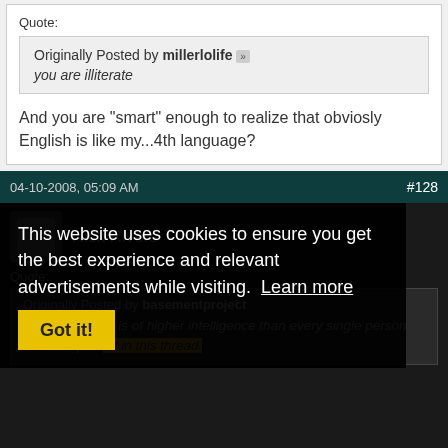Quote:
Originally Posted by millerlolife
you are illiterate
And you are "smart" enough to realize that obviosly English is like my...4th language?
04-10-2008, 05:09 AM   #128
Nick Rivers
Quote:
Originally Posted by basementproject
[x] Britessential is of higher intelligence than every single person who has posted in this thread.
This website uses cookies to ensure you get the best experience and relevant advertisements while visiting. Learn more
Got it!
[x] Seriously.